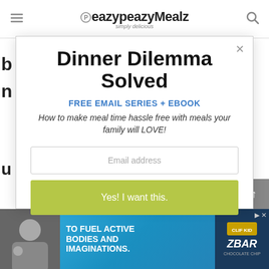eazypeazyMealz — simply delicious
Dinner Dilemma Solved
FREE EMAIL SERIES + EBOOK
How to make meal time hassle free with meals your family will LOVE!
Email address
Yes! I want this.
[Figure (screenshot): Advertisement banner for ZBar product with text 'TO FUEL ACTIVE BODIES AND IMAGINATIONS.']